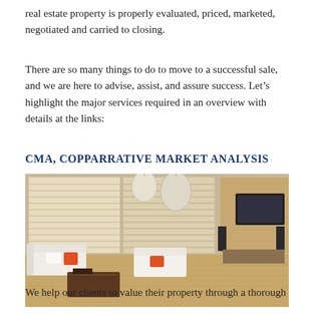real estate property is properly evaluated, priced, marketed, negotiated and carried to closing.
There are so many things to do to move to a successful sale, and we are here to advise, assist, and assure success. Let’s highlight the major services required in an overview with details at the links:
CMA, COPPARRATIVE MARKET ANALYSIS
[Figure (photo): Interior photo of a modern living room with white sofas, orange accent pillows, pendant lights, horizontal blinds on windows, hardwood floors, flat screen TV on wall, and entertainment furniture.]
We help our clients to value their property through a thorough